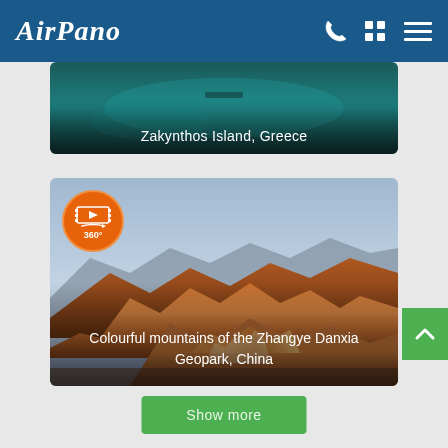AirPano
[Figure (photo): Aerial photo of Zakynthos Island, Greece - turquoise waters and coastline]
Zakynthos Island, Greece
[Figure (photo): Colourful mountains of the Zhangye Danxia Geopark, China - striped red and orange rock formations with 360-degree video badge]
Colourful mountains of the Zhangye Danxia Geopark, China
Show more